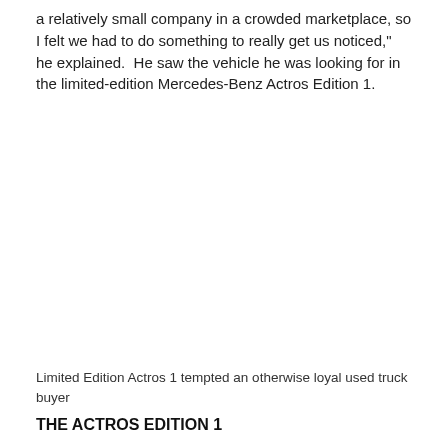a relatively small company in a crowded marketplace, so I felt we had to do something to really get us noticed," he explained.  He saw the vehicle he was looking for in the limited-edition Mercedes-Benz Actros Edition 1.
Limited Edition Actros 1 tempted an otherwise loyal used truck buyer
THE ACTROS EDITION 1